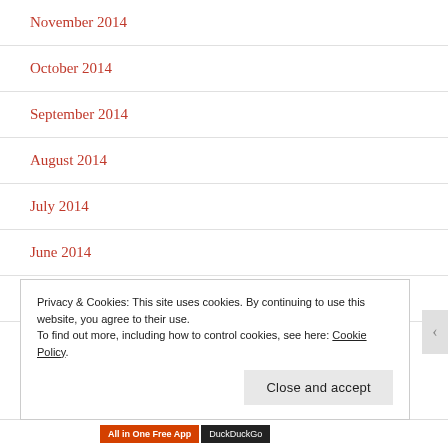November 2014
October 2014
September 2014
August 2014
July 2014
June 2014
May 2014
Privacy & Cookies: This site uses cookies. By continuing to use this website, you agree to their use. To find out more, including how to control cookies, see here: Cookie Policy
Close and accept